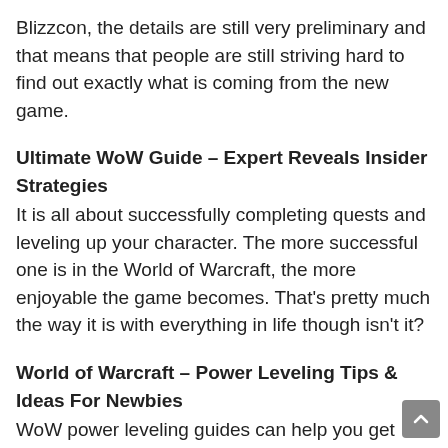Blizzcon, the details are still very preliminary and that means that people are still striving hard to find out exactly what is coming from the new game.
Ultimate WoW Guide – Expert Reveals Insider Strategies
It is all about successfully completing quests and leveling up your character. The more successful one is in the World of Warcraft, the more enjoyable the game becomes. That's pretty much the way it is with everything in life though isn't it?
World of Warcraft – Power Leveling Tips & Ideas For Newbies
WoW power leveling guides can help you get clear your quest log quickly. There are millions of other World of Warcraft players out there, and if you ever find yourself feeling competitive, you need to make sure you have all the best a